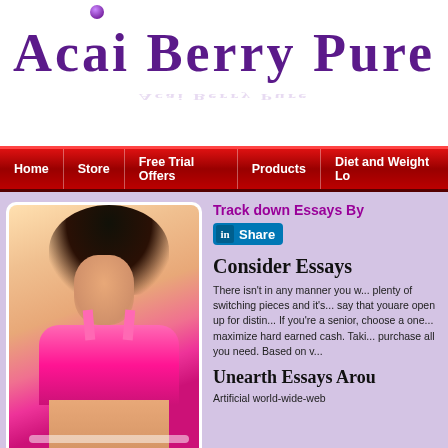[Figure (logo): Acai Berry Pure logo with purple stylized text and a purple berry dot above the letter i]
Home | Store | Free Trial Offers | Products | Diet and Weight Lo...
[Figure (photo): Woman in pink sports bra measuring her waist, dark hair, fitness/diet theme]
Track down Essays By...
Share (LinkedIn button)
Consider Essays...
There isn't in any manner you w... plenty of switching pieces and it's... say that youare open up for distin... If you're a senior, choose a one... maximize hard earned cash. Taki... purchase all you need. Based on v...
Unearth Essays Arou...
Artificial world-wide-web...